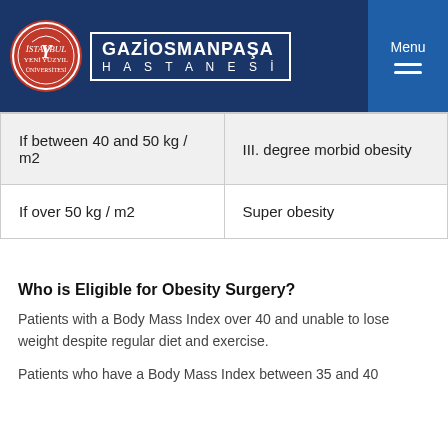GAZİOSMANPAŞA HASTANESİ — Menu
| If between 40 and 50 kg / m2 | III. degree morbid obesity |
| If over 50 kg / m2 | Super obesity |
Who is Eligible for Obesity Surgery?
Patients with a Body Mass Index over 40 and unable to lose weight despite regular diet and exercise.
Patients who have a Body Mass Index between 35 and 40